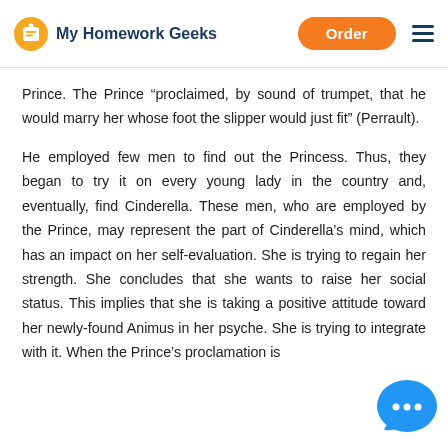My Homework Geeks | Order
Prince. The Prince “proclaimed, by sound of trumpet, that he would marry her whose foot the slipper would just fit” (Perrault).
He employed few men to find out the Princess. Thus, they began to try it on every young lady in the country and, eventually, find Cinderella. These men, who are employed by the Prince, may represent the part of Cinderella’s mind, which has an impact on her self-evaluation. She is trying to regain her strength. She concludes that she wants to raise her social status. This implies that she is taking a positive attitude toward her newly-found Animus in her psyche. She is trying to integrate with it. When the Prince’s proclamation is